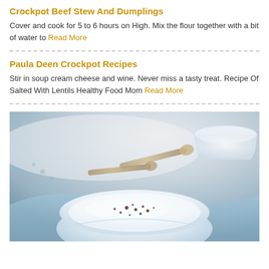Crockpot Beef Stew And Dumplings
Cover and cook for 5 to 6 hours on High. Mix the flour together with a bit of water to Read More
Paula Deen Crockpot Recipes
Stir in soup cream cheese and wine. Never miss a tasty treat. Recipe Of Salted With Lentils Healthy Food Mom Read More
[Figure (photo): Close-up photo of a light blue bowl containing a creamy white soup or dish topped with dark spice sprinkles, with spoons and a teal cloth napkin in the background, and a white cup in the upper right.]